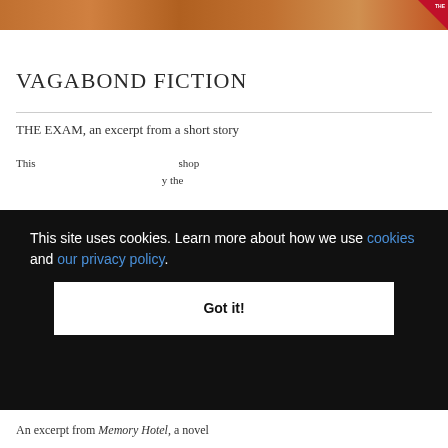[Figure (photo): Top banner image showing a warm-toned landscape or texture in amber and orange hues, with a red badge in the upper right corner containing white text.]
VAGABOND FICTION
THE EXAM, an excerpt from a short story
This page contains text discussing a reading session or workshop... by the ...
This site uses cookies. Learn more about how we use cookies and our privacy policy.
Got it!
An excerpt from Memory Hotel, a novel